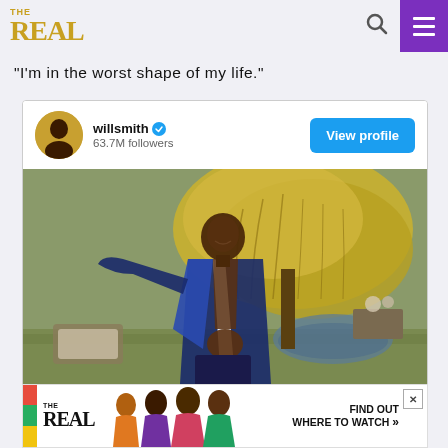THE REAL
“I’m in the worst shape of my life.”
[Figure (screenshot): Instagram profile card for willsmith with 63.7M followers and a View profile button, followed by a photo of Will Smith outdoors with open jacket near a pond and willow tree]
[Figure (infographic): Ad banner for The Real TV show with colorful sidebar, show logo, host silhouettes, and text FIND OUT WHERE TO WATCH with close button]